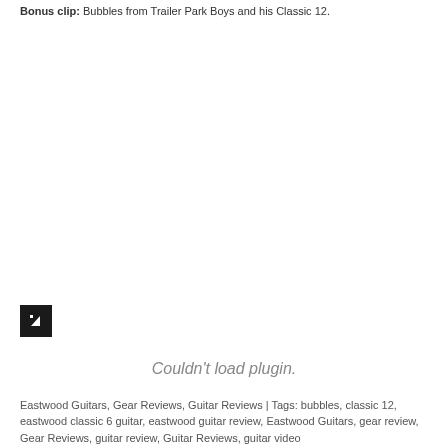Bonus clip: Bubbles from Trailer Park Boys and his Classic 12.
[Figure (other): Video plugin placeholder with broken plugin icon and 'Couldn't load plugin.' message]
Eastwood Guitars, Gear Reviews, Guitar Reviews | Tags: bubbles, classic 12, eastwood classic 6 guitar, eastwood guitar review, Eastwood Guitars, gear review, Gear Reviews, guitar review, Guitar Reviews, guitar video